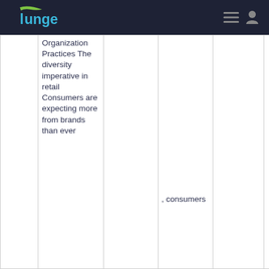Lunge
|  |  |  |  |  |  |
| --- | --- | --- | --- | --- | --- |
|  | Organization Practices The diversity imperative in retail Consumers are expecting more from brands than ever |  |  |  |  |
|  |  |  | , consumers |  |  |